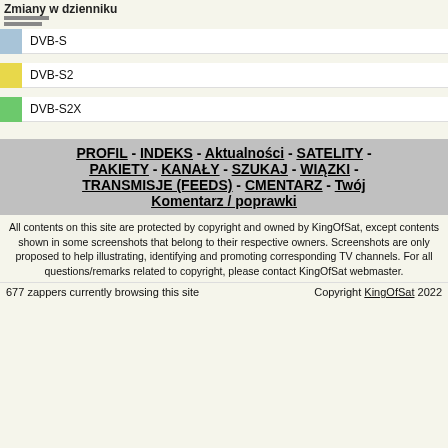Zmiany w dzienniku
DVB-S
DVB-S2
DVB-S2X
PROFIL - INDEKS - Aktualności - SATELITY - PAKIETY - KANAŁY - SZUKAJ - WIĄZKI - TRANSMISJE (FEEDS) - CMENTARZ - Twój Komentarz / poprawki
All contents on this site are protected by copyright and owned by KingOfSat, except contents shown in some screenshots that belong to their respective owners. Screenshots are only proposed to help illustrating, identifying and promoting corresponding TV channels. For all questions/remarks related to copyright, please contact KingOfSat webmaster.
677 zappers currently browsing this site    Copyright KingOfSat 2022